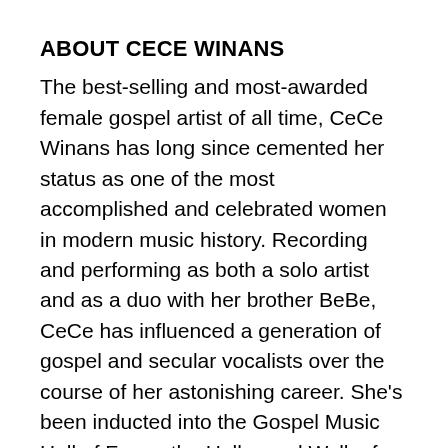ABOUT CECE WINANS
The best-selling and most-awarded female gospel artist of all time, CeCe Winans has long since cemented her status as one of the most accomplished and celebrated women in modern music history. Recording and performing as both a solo artist and as a duo with her brother BeBe, CeCe has influenced a generation of gospel and secular vocalists over the course of her astonishing career. She's been inducted into the Gospel Music Hall of Fame, the Hollywood Walk of Fame, and the Nashville Music City Walk of Fame, in